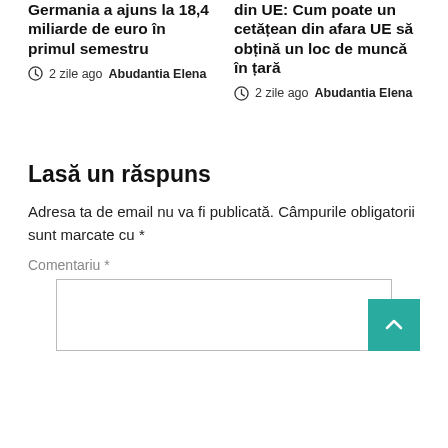Germania a ajuns la 18,4 miliarde de euro în primul semestru
2 zile ago  Abudantia Elena
din UE: Cum poate un cetățean din afara UE să obțină un loc de muncă în țară
2 zile ago  Abudantia Elena
Lasă un răspuns
Adresa ta de email nu va fi publicată. Câmpurile obligatorii sunt marcate cu *
Comentariu *